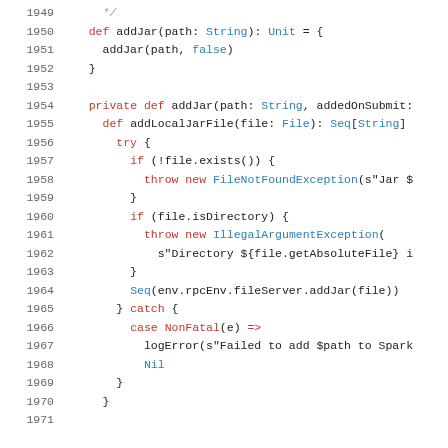[Figure (screenshot): Scala source code snippet showing lines 1949-1971, including addJar method definitions with try/catch blocks for handling file not found and illegal argument exceptions.]